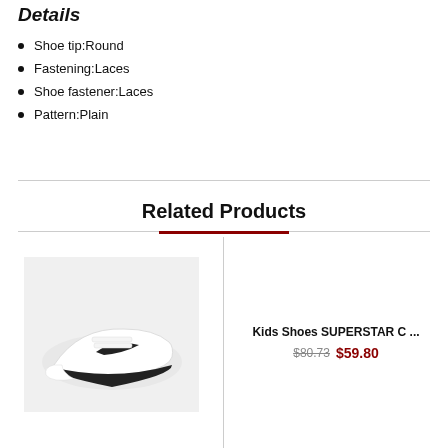Details
Shoe tip:Round
Fastening:Laces
Shoe fastener:Laces
Pattern:Plain
Related Products
[Figure (photo): White Nike sneaker with black swoosh and black sole]
Kids Shoes SUPERSTAR C ...
$80.73  $59.80